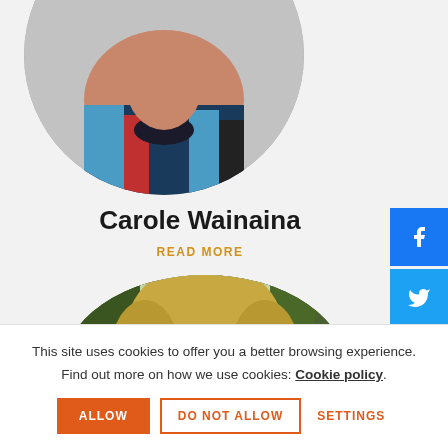[Figure (photo): Circular cropped photo of Carole Wainaina, showing upper body in colorful patterned clothing, top portion of image]
Carole Wainaina
READ MORE
[Figure (photo): Circular cropped photo of a person with blonde hair and red glasses, showing face from nose up against green foliage background]
[Figure (illustration): Social media share buttons: Facebook, Twitter, LinkedIn, and a plus button on the right side]
This site uses cookies to offer you a better browsing experience. Find out more on how we use cookies: Cookie policy.
ALLOW  DO NOT ALLOW  SETTINGS